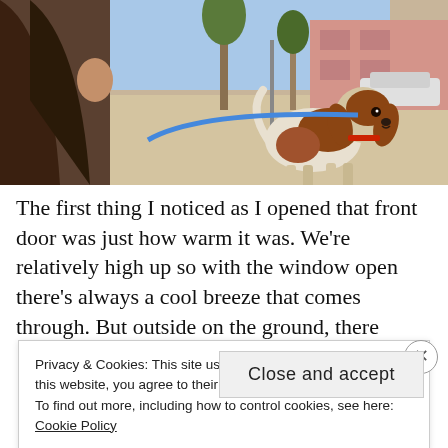[Figure (photo): A person with long dark hair and a Cavalier King Charles Spaniel dog on a blue leash standing on a sunny outdoor pavement area with trees and buildings in the background.]
The first thing I noticed as I opened that front door was just how warm it was. We're relatively high up so with the window open there's always a cool breeze that comes through. But outside on the ground, there wasn't a breeze. It was glorious. I could've walked up
Privacy & Cookies: This site uses cookies. By continuing to use this website, you agree to their use.
To find out more, including how to control cookies, see here: Cookie Policy
Close and accept